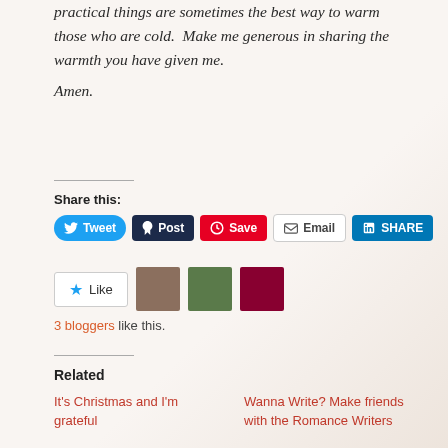practical things are sometimes the best way to warm those who are cold.  Make me generous in sharing the warmth you have given me.
Amen.
Share this:
Tweet  Post  Save  Email  SHARE
Like  3 bloggers like this.
Related
It's Christmas and I'm grateful
Wanna Write? Make friends with the Romance Writers